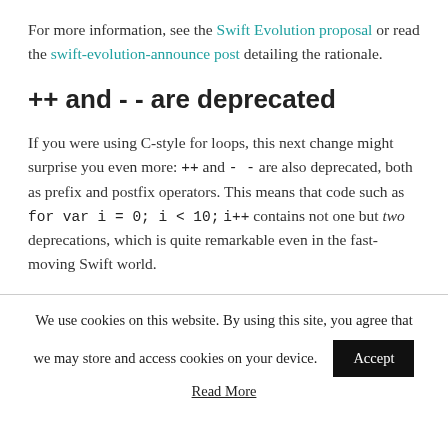For more information, see the Swift Evolution proposal or read the swift-evolution-announce post detailing the rationale.
++ and -- are deprecated
If you were using C-style for loops, this next change might surprise you even more: ++ and -- are also deprecated, both as prefix and postfix operators. This means that code such as for var i = 0; i < 10; i++ contains not one but two deprecations, which is quite remarkable even in the fast-moving Swift world.
We use cookies on this website. By using this site, you agree that we may store and access cookies on your device. Accept
Read More